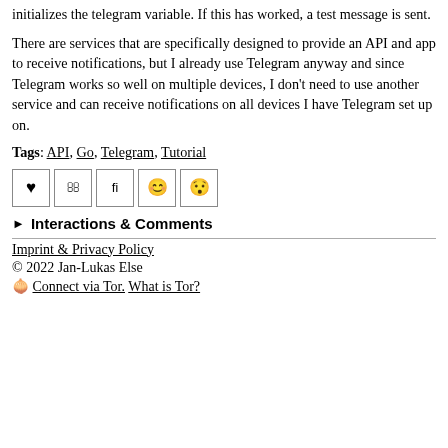initializes the telegram variable. If this has worked, a test message is sent.
There are services that are specifically designed to provide an API and app to receive notifications, but I already use Telegram anyway and since Telegram works so well on multiple devices, I don't need to use another service and can receive notifications on all devices I have Telegram set up on.
Tags: API, Go, Telegram, Tutorial
[Figure (other): Row of five icon buttons: heart, two unlabeled icons, smiley face, surprised face emoji]
▶ Interactions & Comments
Imprint & Privacy Policy
© 2022 Jan-Lukas Else
🧅 Connect via Tor. What is Tor?